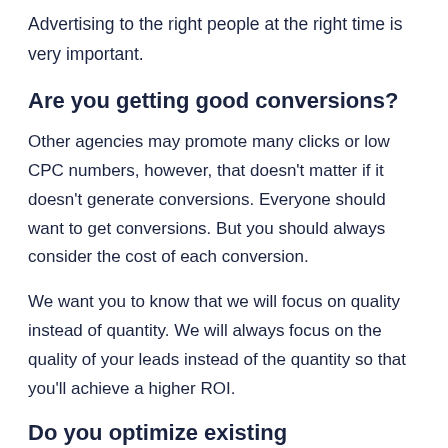Advertising to the right people at the right time is very important.
Are you getting good conversions?
Other agencies may promote many clicks or low CPC numbers, however, that doesn’t matter if it doesn’t generate conversions. Everyone should want to get conversions. But you should always consider the cost of each conversion.
We want you to know that we will focus on quality instead of quantity. We will always focus on the quality of your leads instead of the quantity so that you’ll achieve a higher ROI.
Do you optimize existing campaigns?